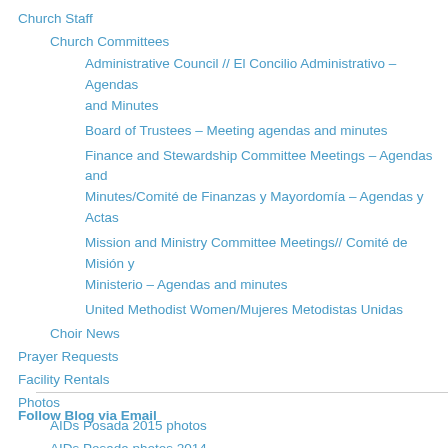Church Staff
Church Committees
Administrative Council // El Concilio Administrativo – Agendas and Minutes
Board of Trustees – Meeting agendas and minutes
Finance and Stewardship Committee Meetings – Agendas and Minutes/Comité de Finanzas y Mayordomía – Agendas y Actas
Mission and Ministry Committee Meetings// Comité de Misión y Ministerio – Agendas and minutes
United Methodist Women/Mujeres Metodistas Unidas
Choir News
Prayer Requests
Facility Rentals
Photos
AIDs Posada 2015 photos
AIDs Posada photos 2014
Parade photos
Follow Blog via Email